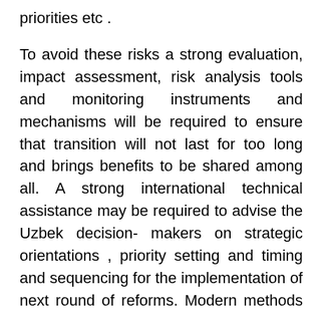priorities etc .
To avoid these risks a strong evaluation, impact assessment, risk analysis tools and monitoring instruments and mechanisms will be required to ensure that transition will not last for too long and brings benefits to be shared among all. A strong international technical assistance may be required to advise the Uzbek decision- makers on strategic orientations , priority setting and timing and sequencing for the implementation of next round of reforms. Modern methods of monitoring and evaluation would be needed. It would also be necessary to sharpen policy